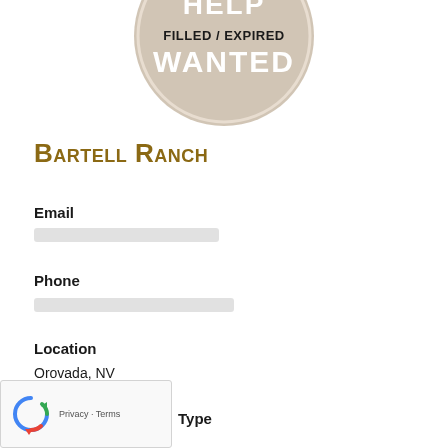[Figure (illustration): Help Wanted circular badge/stamp graphic with 'FILLED / EXPIRED' overlaid text. The badge is tan/beige colored with white text reading 'HELP WANTED' and bold black text 'FILLED / EXPIRED' across the center.]
Bartell Ranch
Email
[blurred/redacted email address]
Phone
[blurred/redacted phone number]
Location
Orovada, NV
Type
Full-time